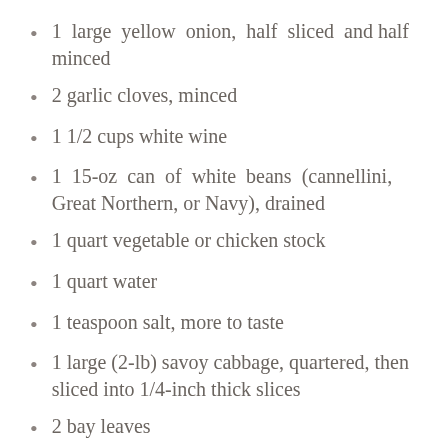1 large yellow onion, half sliced and half minced
2 garlic cloves, minced
1 1/2 cups white wine
1 15-oz can of white beans (cannellini, Great Northern, or Navy), drained
1 quart vegetable or chicken stock
1 quart water
1 teaspoon salt, more to taste
1 large (2-lb) savoy cabbage, quartered, then sliced into 1/4-inch thick slices
2 bay leaves
1 cup chopped parsley, loosely packed